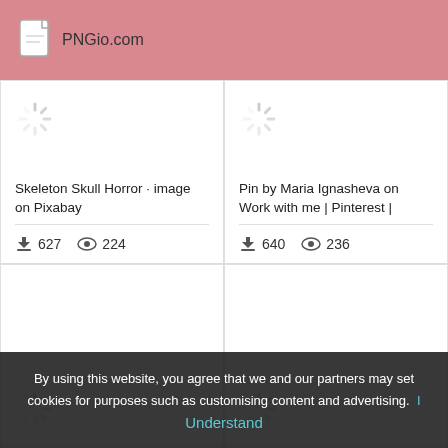PNGio.com
[Figure (screenshot): Loading spinner icon top-left card]
Skeleton Skull Horror · image on Pixabay
627 downloads, 224 views
[Figure (screenshot): Loading spinner icon top-right card]
Pin by Maria Ignasheva on Work with me | Pinterest |
640 downloads, 236 views
[Figure (screenshot): Loading spinner icon bottom-left card]
[Figure (screenshot): Loading spinner icon bottom-right card]
By using this website, you agree that we and our partners may set cookies for purposes such as customising content and advertising. Understand